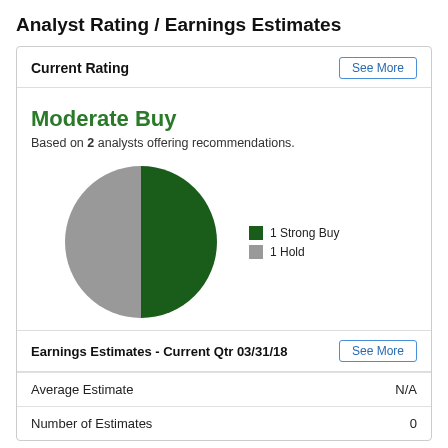Analyst Rating / Earnings Estimates
Current Rating
Moderate Buy
Based on 2 analysts offering recommendations.
[Figure (pie-chart): Analyst Ratings]
Earnings Estimates - Current Qtr 03/31/18
|  |  |
| --- | --- |
| Average Estimate | N/A |
| Number of Estimates | 0 |